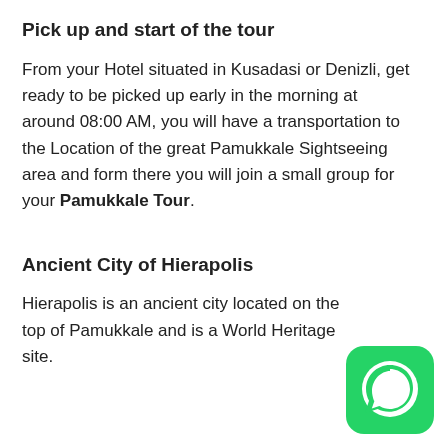Pick up and start of the tour
From your Hotel situated in Kusadasi or Denizli, get ready to be picked up early in the morning at around 08:00 AM, you will have a transportation to the Location of the great Pamukkale Sightseeing area and form there you will join a small group for your Pamukkale Tour.
Ancient City of Hierapolis
Hierapolis is an ancient city located on the top of Pamukkale and is a World Heritage site.
[Figure (logo): WhatsApp icon — green rounded square with white chat bubble logo]